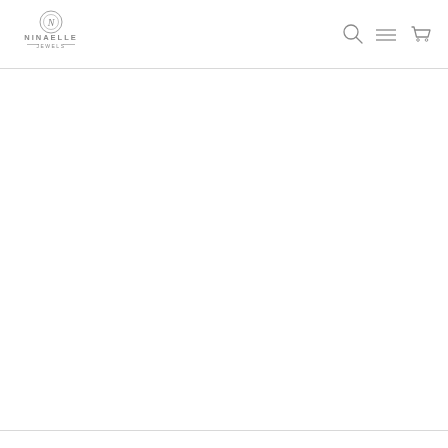NINAELLE JEWELS — Navigation header with logo, search, menu, and cart icons